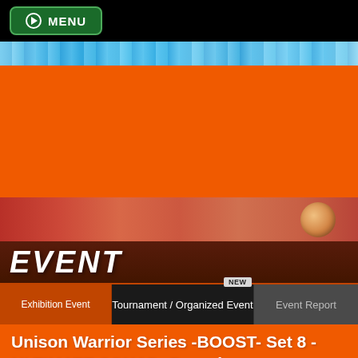MENU
[Figure (screenshot): Colorful anime-style banner strip with blue/teal energy effects]
[Figure (illustration): Orange background section — large orange branded area]
[Figure (illustration): Hero strip with anime character and orange/red tones and a round orange object]
EVENT
NEW
Exhibition Event
Tournament / Organized Event
Event Report
Unison Warrior Series -BOOST- Set 8 - ULTIMATE SQUAD- Pre-release
▲ Page top